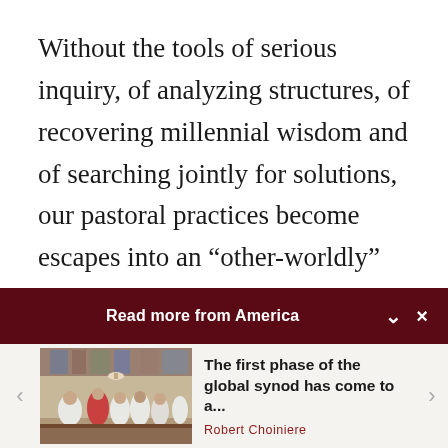Without the tools of serious inquiry, of analyzing structures, of recovering millennial wisdom and of searching jointly for solutions, our pastoral practices become escapes into an “other-worldly” Christianity, which goes very much against Jesus’ own practices and those of the early church.  Likewise, if we have all the intellect...
Read more from America
[Figure (photo): Photo of clergy in white and red vestments during a church ceremony inside a cathedral]
The first phase of the global synod has come to a...
Robert Choiniere